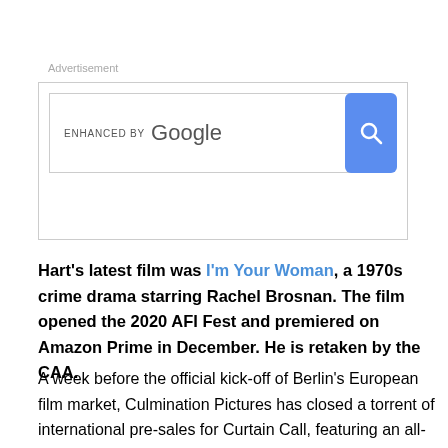Advertisement
[Figure (screenshot): Google enhanced search box with blue search button]
Hart's latest film was I'm Your Woman, a 1970s crime drama starring Rachel Brosnan. The film opened the 2020 AFI Fest and premiered on Amazon Prime in December. He is retaken by the CAA.
A week before the official kick-off of Berlin's European film market, Culmination Pictures has closed a torrent of international pre-sales for Curtain Call, featuring an all-star British cast, Anand Tucker (Shopgirl, Hilary And Jackie) 's a period murder mystery. Which includes Colin Firth, Gemma Arterton, Peter Brookhouse and Simon Russell Collin...